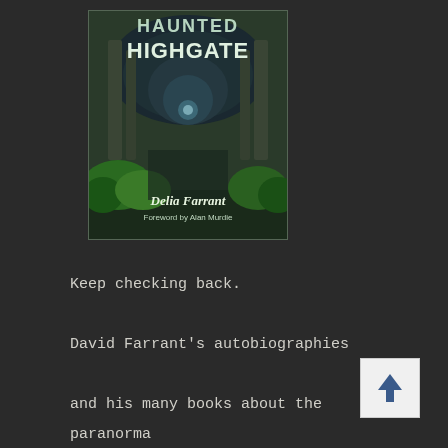[Figure (illustration): Book cover of 'Haunted Highgate' by Delia Farrant, Foreword by Alan Murdie. Shows a dark gothic cemetery tunnel/archway with green foliage.]
Keep checking back.

David Farrant's autobiographies

and his many books about the paranormal

will be available again soon.